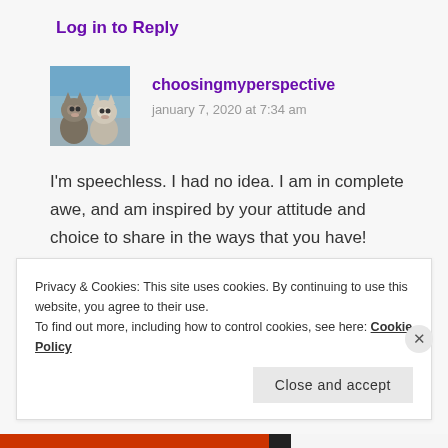Log in to Reply
[Figure (photo): Avatar image of two kittens sitting together against a blue background]
choosingmyperspective
january 7, 2020 at 7:34 am
I'm speechless. I had no idea. I am in complete awe, and am inspired by your attitude and choice to share in the ways that you have! Thank you Cee. Thank you.
Privacy & Cookies: This site uses cookies. By continuing to use this website, you agree to their use.
To find out more, including how to control cookies, see here: Cookie Policy
Close and accept